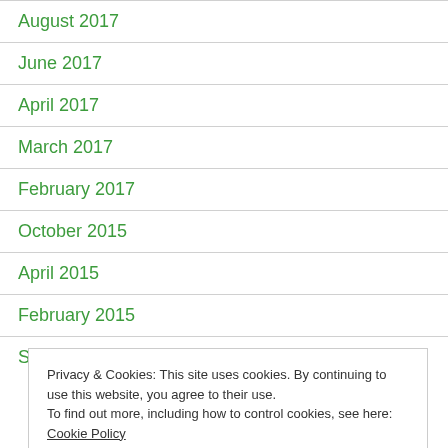August 2017
June 2017
April 2017
March 2017
February 2017
October 2015
April 2015
February 2015
September 2014
Privacy & Cookies: This site uses cookies. By continuing to use this website, you agree to their use.
To find out more, including how to control cookies, see here: Cookie Policy
Close and accept